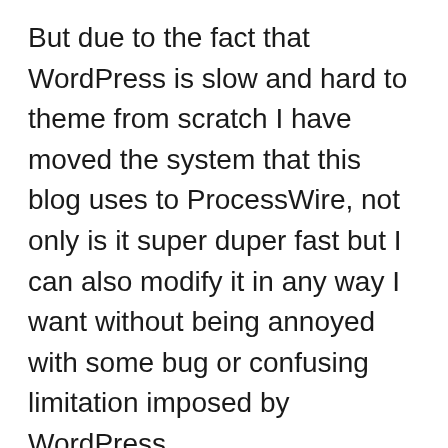But due to the fact that WordPress is slow and hard to theme from scratch I have moved the system that this blog uses to ProcessWire, not only is it super duper fast but I can also modify it in any way I want without being annoyed with some bug or confusing limitation imposed by WordPress.
It is also the start of a new domain blog.adamblunt.me adamxp12.com will remain functional